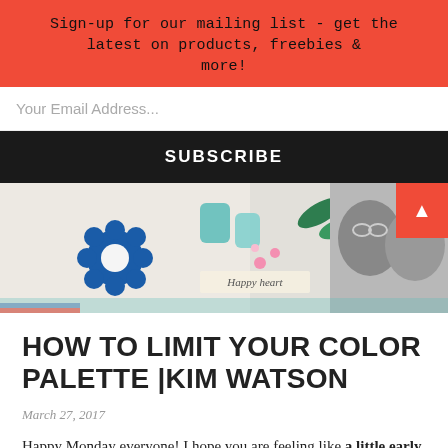Sign-up for our mailing list - get the latest on products, freebies & more!
Your Email Address...
SUBSCRIBE
[Figure (photo): Scrapbook layout with colorful floral stickers, teal decorative letters, and a black-and-white photo of two people smiling, with text 'Happy heart']
HOW TO LIMIT YOUR COLOR PALETTE |KIM WATSON
March 27, 2017
Happy Monday everyone! I hope you are feeling like a little early week inspiration to get you in the crafty